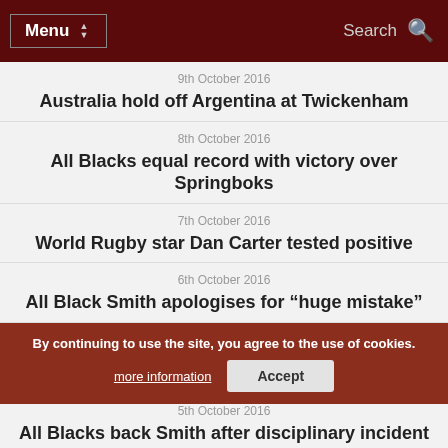Menu | Search
9th October 2016
Australia hold off Argentina at Twickenham
8th October 2016
All Blacks equal record with victory over Springboks
7th October 2016
World Rugby star Dan Carter tested positive
6th October 2016
All Black Smith apologises for “huge mistake”
6th October 2016
Wallabies make two changes for Pumas at Twickenham
6th October 2016
All Blacks make four changes for Springboks
By continuing to use the site, you agree to the use of cookies. more information | Accept
De Klerk and De Allende handed debuts as Springboks
5th October 2016
All Blacks back Smith after disciplinary incident